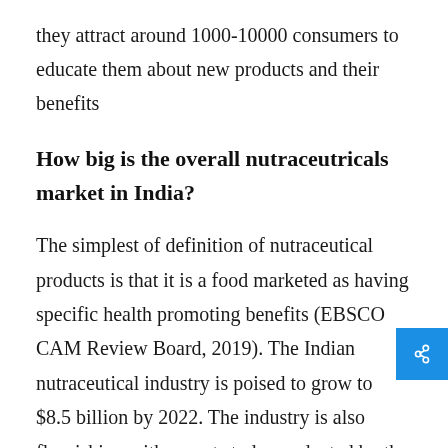they attract around 1000-10000 consumers to educate them about new products and their benefits
How big is the overall nutraceutricals market in India?
The simplest of definition of nutraceutical products is that it is a food marketed as having specific health promoting benefits (EBSCO CAM Review Board, 2019). The Indian nutraceutical industry is poised to grow to $8.5 billion by 2022. The industry is also flourishing with recent study conducted by the World Bank claiming that India